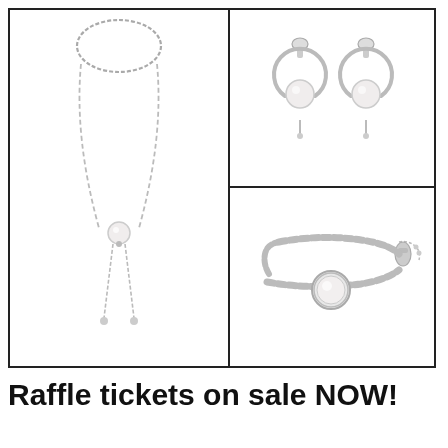[Figure (illustration): Silver pearl jewelry set: long lariat necklace with pearl pendant (left panel), pearl drop earrings with crescent hoop (top right panel), pearl chain bracelet (bottom right panel), all arranged in a bordered grid layout.]
Raffle tickets on sale NOW!